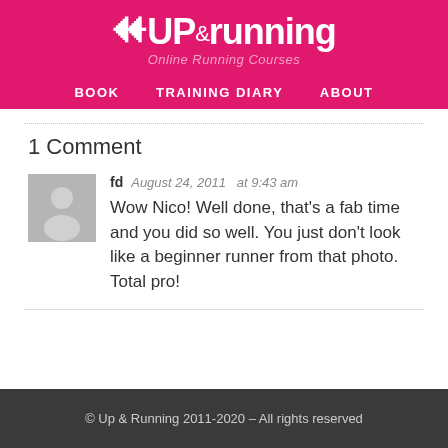UP & Running — Online Running Courses — BOOK   TRAINING DIARY   ABOUT
1 Comment
fd   August 24, 2011   at 9:43 am
Wow Nico! Well done, that's a fab time and you did so well. You just don't look like a beginner runner from that photo. Total pro!
© Up & Running 2011-2020 – All rights reserved